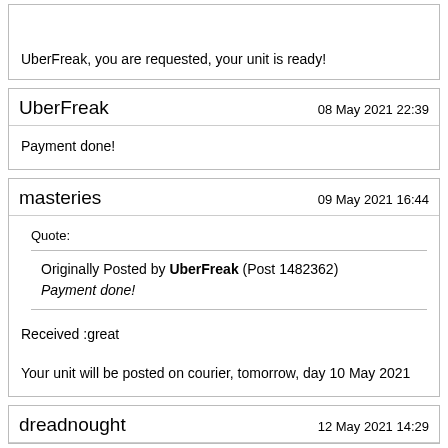UberFreak, you are requested, your unit is ready!
UberFreak
08 May 2021 22:39
Payment done!
masteries
09 May 2021 16:44
Quote:
Originally Posted by UberFreak (Post 1482362)
Payment done!
Received :great
Your unit will be posted on courier, tomorrow, day 10 May 2021
dreadnought
12 May 2021 14:29